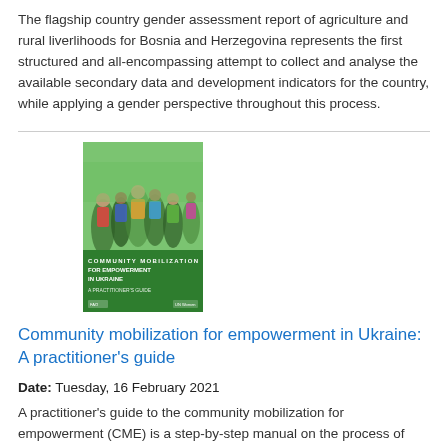The flagship country gender assessment report of agriculture and rural liverlihoods for Bosnia and Herzegovina represents the first structured and all-encompassing attempt to collect and analyse the available secondary data and development indicators for the country, while applying a gender perspective throughout this process.
[Figure (illustration): Book cover of 'Community mobilization for empowerment in Ukraine: A practitioner's guide' with a green background and a group photo on the top half]
Community mobilization for empowerment in Ukraine: A practitioner's guide
Date: Tuesday, 16 February 2021
A practitioner's guide to the community mobilization for empowerment (CME) is a step-by-step manual on the process of implementing community mobilization for empowerment, intended for the mobilizers in local communities, civil society organizations' staff and volunteers, as well as members of the self-help groups. The foundations for CME are based on human rights and gender